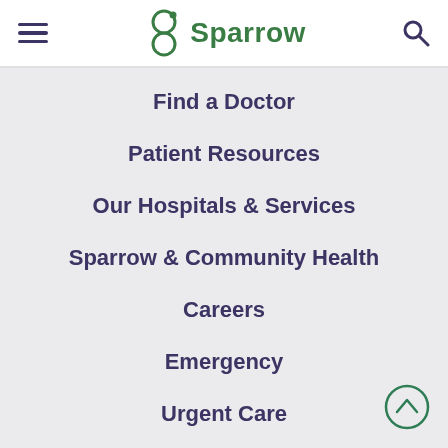Sparrow
Find a Doctor
Patient Resources
Our Hospitals & Services
Sparrow & Community Health
Careers
Emergency
Urgent Care